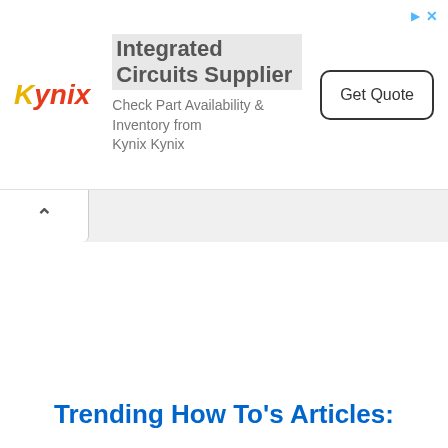[Figure (other): Kynix advertisement banner: Kynix logo on left, headline 'Integrated Circuits Supplier', subtext 'Check Part Availability & Inventory from Kynix Kynix', and a 'Get Quote' button on the right.]
[Figure (screenshot): Browser tab area with a collapsed/up-arrow tab on the left side.]
Trending How To's Articles: